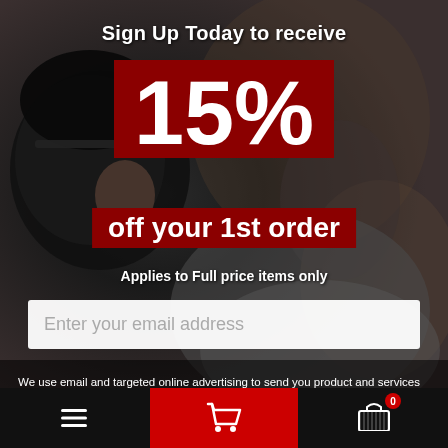[Figure (photo): Dark moody photo of a cyclist wearing a helmet, leaning forward, with blurred dark background]
Sign Up Today to receive
15%
off your 1st order
Applies to Full price items only
Enter your email address
We use email and targeted online advertising to send you product and services updates, promotional offers and other marketing communications based on the information we collect about you, such as your email address, general location, and purchase and website browsing history.
We process your personal data as stated in our Privacy Policy {insert privacy policy link}.  You may withdraw your consent or manage your preferences at any time by clicking the unsubscribe link at the bottom of
Menu | Cart | Basket (0)